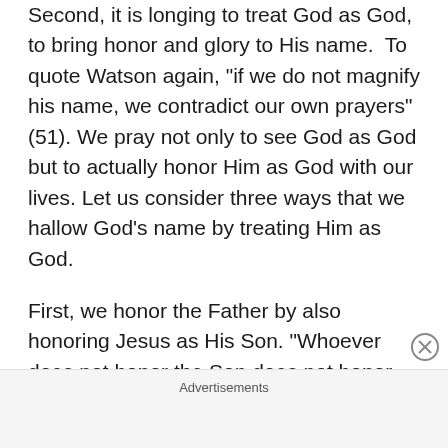Second, it is longing to treat God as God, to bring honor and glory to His name. To quote Watson again, "if we do not magnify his name, we contradict our own prayers" (51). We pray not only to see God as God but to actually honor Him as God with our lives. Let us consider three ways that we hallow God's name by treating Him as God.

First, we honor the Father by also honoring Jesus as His Son. "Whoever does not honor the Son does not honor the Father who sent him" (John 5:23). Jesus Christ is the image of the invisible God, the radiance of His glory, and the exact imprint of His
Advertisements